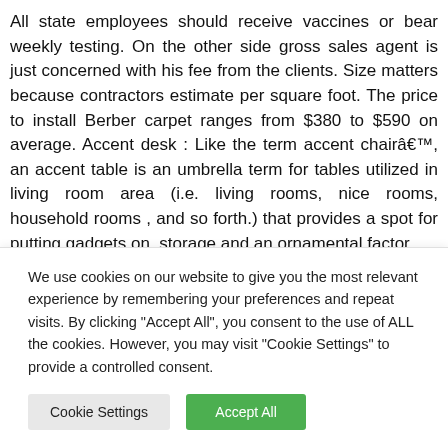All state employees should receive vaccines or bear weekly testing. On the other side gross sales agent is just concerned with his fee from the clients. Size matters because contractors estimate per square foot. The price to install Berber carpet ranges from $380 to $590 on average. Accent desk : Like the term accent chairâ€™, an accent table is an umbrella term for tables utilized in living room area (i.e. living rooms, nice rooms, household rooms , and so forth.) that provides a spot for putting gadgets on, storage and an ornamental factor.
We use cookies on our website to give you the most relevant experience by remembering your preferences and repeat visits. By clicking "Accept All", you consent to the use of ALL the cookies. However, you may visit "Cookie Settings" to provide a controlled consent.